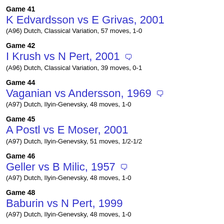Game 41
K Edvardsson vs E Grivas, 2001
(A96) Dutch, Classical Variation, 57 moves, 1-0
Game 42
I Krush vs N Pert, 2001
(A96) Dutch, Classical Variation, 39 moves, 0-1
Game 44
Vaganian vs Andersson, 1969
(A97) Dutch, Ilyin-Genevsky, 48 moves, 1-0
Game 45
A Postl vs E Moser, 2001
(A97) Dutch, Ilyin-Genevsky, 51 moves, 1/2-1/2
Game 46
Geller vs B Milic, 1957
(A97) Dutch, Ilyin-Genevsky, 48 moves, 1-0
Game 48
Baburin vs N Pert, 1999
(A97) Dutch, Ilyin-Genevsky, 48 moves, 1-0
Game 49
Averbakh vs Boleslavsky, 1953
(A96) Dutch, Classical Variation, 31 moves, 1/2-1/2